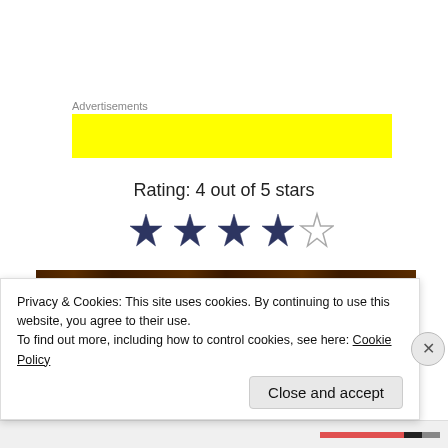Advertisements
[Figure (other): Yellow advertisement banner placeholder]
Rating: 4 out of 5 stars
[Figure (other): Star rating graphic showing 4 filled dark stars and 1 empty/outline star]
[Figure (photo): Dark wooden background with golden cursive text reading 'Summary']
Privacy & Cookies: This site uses cookies. By continuing to use this website, you agree to their use.
To find out more, including how to control cookies, see here: Cookie Policy
Close and accept